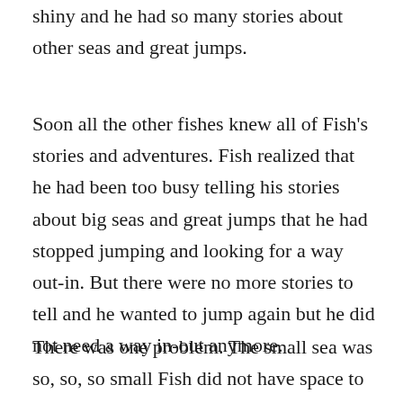shiny and he had so many stories about other seas and great jumps.
Soon all the other fishes knew all of Fish’s stories and adventures. Fish realized that he had been too busy telling his stories about big seas and great jumps that he had stopped jumping and looking for a way out-in. But there were no more stories to tell and he wanted to jump again but he did not need a way in-out anymore.
There was one problem. The small sea was so, so, so small Fish did not have space to jump. And just when